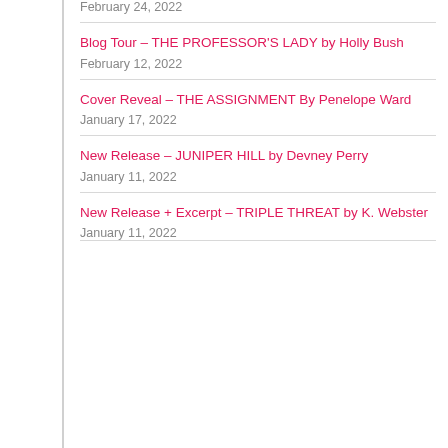February 24, 2022
Blog Tour – THE PROFESSOR'S LADY by Holly Bush
February 12, 2022
Cover Reveal – THE ASSIGNMENT By Penelope Ward
January 17, 2022
New Release – JUNIPER HILL by Devney Perry
January 11, 2022
New Release + Excerpt – TRIPLE THREAT by K. Webster
January 11, 2022